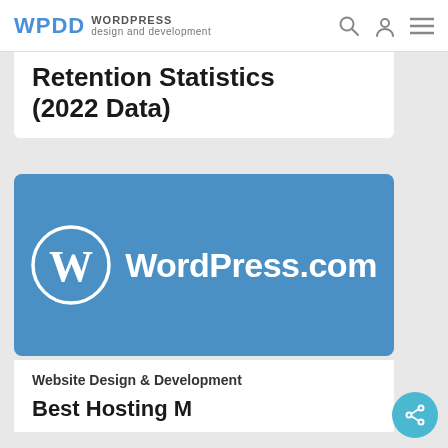WPDD WORDPRESS design and development
Retention Statistics (2022 Data)
[Figure (logo): WordPress.com logo — white WordPress circular W icon on steel blue background with text WordPress.com]
Website Design & Development
Best Hosting M...